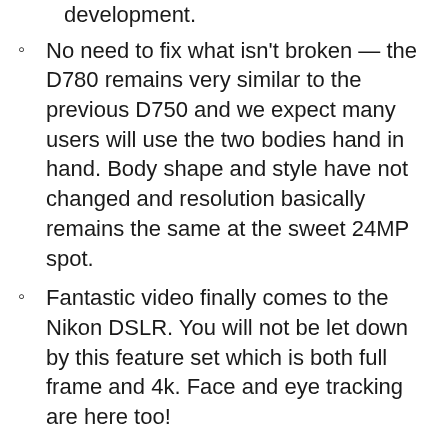development.
No need to fix what isn't broken — the D780 remains very similar to the previous D750 and we expect many users will use the two bodies hand in hand. Body shape and style have not changed and resolution basically remains the same at the sweet 24MP spot.
Fantastic video finally comes to the Nikon DSLR. You will not be let down by this feature set which is both full frame and 4k. Face and eye tracking are here too!
Dual SD Card Slots — missing on the Z series and wanted by so many photographers.